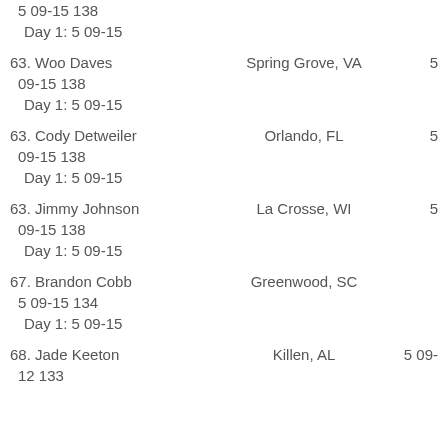5 09-15 138 Day 1: 5 09-15
63. Woo Daves   Spring Grove, VA   5 09-15 138   Day 1: 5 09-15
63. Cody Detweiler   Orlando, FL   5 09-15 138   Day 1: 5 09-15
63. Jimmy Johnson   La Crosse, WI   5 09-15 138   Day 1: 5 09-15
67. Brandon Cobb   Greenwood, SC   5 09-15 134   Day 1: 5 09-15
68. Jade Keeton   Killen, AL   5 09-12 133